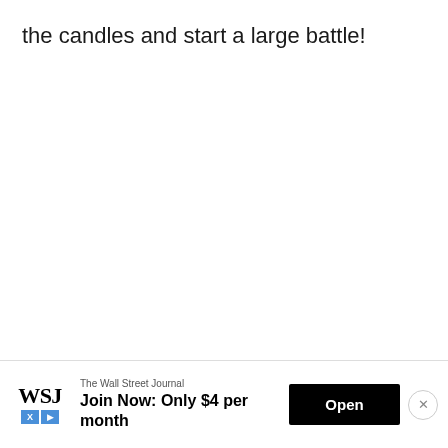the candles and start a large battle!
[Figure (screenshot): Advertisement banner for The Wall Street Journal. Shows WSJ logo, text 'The Wall Street Journal', 'Join Now: Only $4 per month', an 'Open' button, and a close (X) button.]